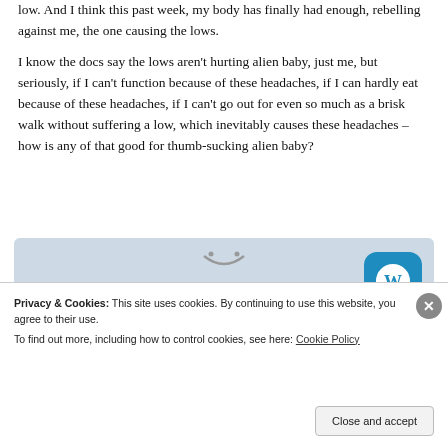low. And I think this past week, my body has finally had enough, rebelling against me, the one causing the lows.
I know the docs say the lows aren't hurting alien baby, just me, but seriously, if I can't function because of these headaches, if I can hardly eat because of these headaches, if I can't go out for even so much as a brisk walk without suffering a low, which inevitably causes these headaches – how is any of that good for thumb-sucking alien baby?
[Figure (screenshot): App download banner with WordPress logo and 'GET THE APP' text in blue]
Privacy & Cookies: This site uses cookies. By continuing to use this website, you agree to their use.
To find out more, including how to control cookies, see here: Cookie Policy